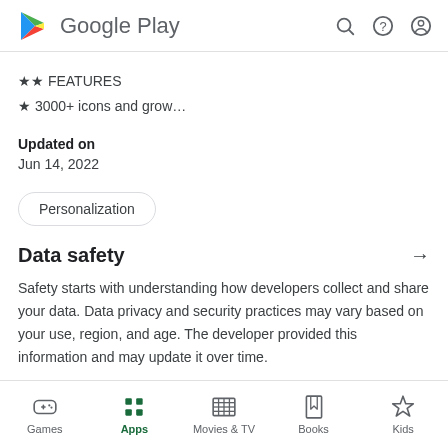Google Play
★★ FEATURES
★ 3000+ icons and grow...
Updated on
Jun 14, 2022
Personalization
Data safety
Safety starts with understanding how developers collect and share your data. Data privacy and security practices may vary based on your use, region, and age. The developer provided this information and may update it over time.
Games  Apps  Movies & TV  Books  Kids